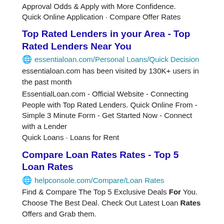Approval Odds & Apply with More Confidence.
Quick Online Application · Compare Offer Rates
Top Rated Lenders in your Area - Top Rated Lenders Near You
🌐 essentialoan.com/Personal Loans/Quick Decision
essentialoan.com has been visited by 130K+ users in the past month
EssentialLoan.com - Official Website - Connecting People with Top Rated Lenders. Quick Online From - Simple 3 Minute Form - Get Started Now - Connect with a Lender
Quick Loans · Loans for Rent
Compare Loan Rates Rates - Top 5 Loan Rates
🌐 helpconsole.com/Compare/Loan Rates
Find & Compare The Top 5 Exclusive Deals For You. Choose The Best Deal. Check Out Latest Loan Rates Offers and Grab them.
Featured Articles
Home Loan Trends
?If you own a home or plan to buy or sell a home in the next year,

there are some trends on the horizon that will affect the ...
What Is a Good Credit Score for a Home Loan?
The better the credit score, the lower the interest rate it commands.

That is particularly true when ...